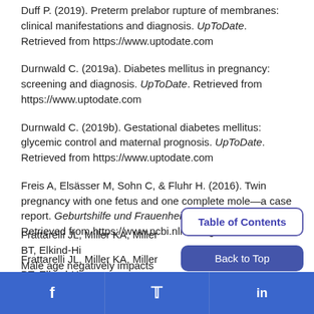Duff P. (2019). Preterm prelabor rupture of membranes: clinical manifestations and diagnosis. UpToDate. Retrieved from https://www.uptodate.com
Durnwald C. (2019a). Diabetes mellitus in pregnancy: screening and diagnosis. UpToDate. Retrieved from https://www.uptodate.com
Durnwald C. (2019b). Gestational diabetes mellitus: glycemic control and maternal prognosis. UpToDate. Retrieved from https://www.uptodate.com
Freis A, Elsässer M, Sohn C, & Fluhr H. (2016). Twin pregnancy with one fetus and one complete mole—a case report. Geburtshilfe und Frauenheilkunde, 76(7), 819–22. Retrieved from https://www.ncbi.nlm.nih.gov
Frattarelli JL, Miller KA, Miller BT, Elkind-Hi... Male age negatively impacts embryo devel... outcome in donor oocyte assisted reproductive technology cycles. Fertil Steril, 90(1), 97.
Lockwood CJ. (2019). Preterm labor: clinical findings, diagnostic...
Table of Contents
Back to Top